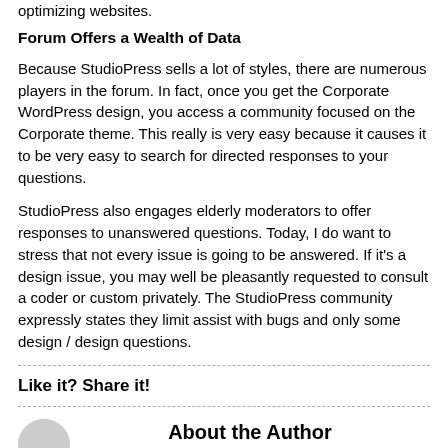optimizing websites.
Forum Offers a Wealth of Data
Because StudioPress sells a lot of styles, there are numerous players in the forum. In fact, once you get the Corporate WordPress design, you access a community focused on the Corporate theme. This really is very easy because it causes it to be very easy to search for directed responses to your questions.
StudioPress also engages elderly moderators to offer responses to unanswered questions. Today, I do want to stress that not every issue is going to be answered. If it's a design issue, you may well be pleasantly requested to consult a coder or custom privately. The StudioPress community expressly states they limit assist with bugs and only some design / design questions.
Like it? Share it!
About the Author